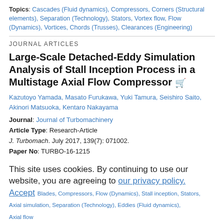Topics: Cascades (Fluid dynamics), Compressors, Corners (Structural elements), Separation (Technology), Stators, Vortex flow, Flow (Dynamics), Vortices, Chords (Trusses), Clearances (Engineering)
JOURNAL ARTICLES
Large-Scale Detached-Eddy Simulation Analysis of Stall Inception Process in a Multistage Axial Flow Compressor
Kazutoyo Yamada, Masato Furukawa, Yuki Tamura, Seishiro Saito, Akinori Matsuoka, Kentaro Nakayama
Journal: Journal of Turbomachinery
Article Type: Research-Article
J. Turbomach. July 2017, 139(7): 071002.
Paper No: TURBO-16-1215
DOI: https://doi.org/10.1115/1.4035519
Published Online: February 23, 2017
This site uses cookies. By continuing to use our website, you are agreeing to our privacy policy. Accept
Blades, Compressors, Flow (Dynamics), Stall inception, Stators, Axial simulation, Separation (Technology), Eddies (Fluid dynamics), Axial flow